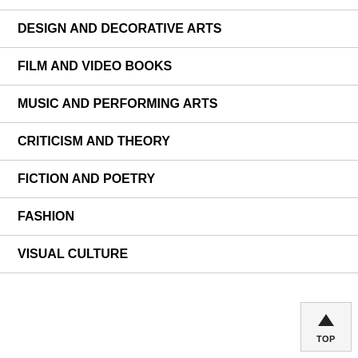DESIGN AND DECORATIVE ARTS
FILM AND VIDEO BOOKS
MUSIC AND PERFORMING ARTS
CRITICISM AND THEORY
FICTION AND POETRY
FASHION
VISUAL CULTURE